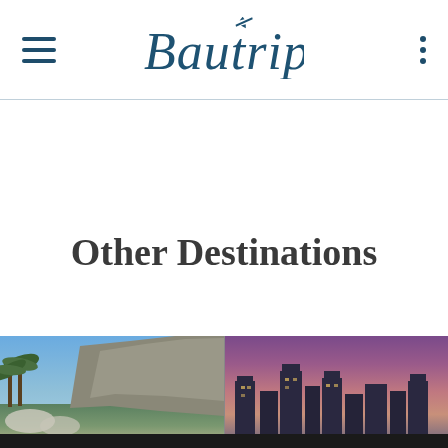Bautrip
Other Destinations
[Figure (photo): Two destination photos side by side: left shows a coastal landscape with palm trees, rocky cliffs and blue sky; right shows a city skyline at dusk with purple and pink hues]